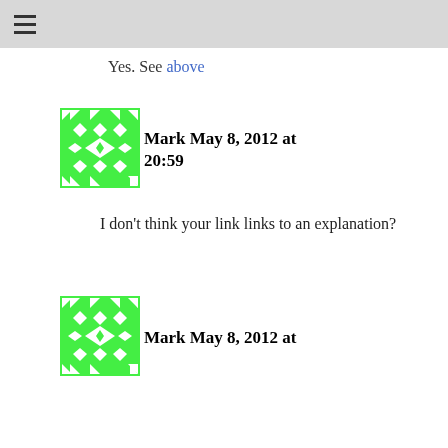≡
Yes. See above
[Figure (illustration): Green geometric avatar icon with diamond and triangle pattern]
Mark May 8, 2012 at 20:59
I don't think your link links to an explanation?
[Figure (illustration): Green geometric avatar icon with diamond and triangle pattern]
Mark May 8, 2012 at